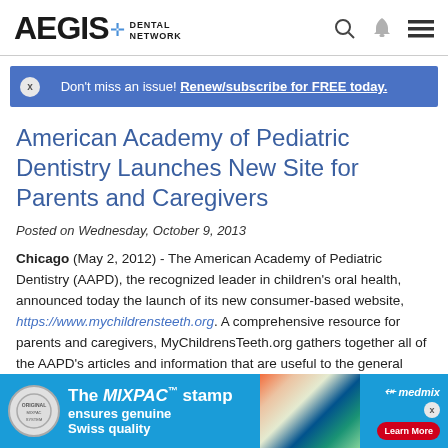[Figure (logo): AEGIS Dental Network logo with blue plus sign and navigation icons (search, bell, menu)]
Don't miss an issue! Renew/subscribe for FREE today.
American Academy of Pediatric Dentistry Launches New Site for Parents and Caregivers
Posted on Wednesday, October 9, 2013
Chicago (May 2, 2012) - The American Academy of Pediatric Dentistry (AAPD), the recognized leader in children's oral health, announced today the launch of its new consumer-based website, https://www.mychildrensteeth.org. A comprehensive resource for parents and caregivers, MyChildrensteeth.org gathers together all of the AAPD's articles and information that are useful to the general
[Figure (photo): Advertisement banner for MIXPAC stamp ensuring genuine Swiss quality, with medmix branding, colorful tubes and caps image, and Learn More button]